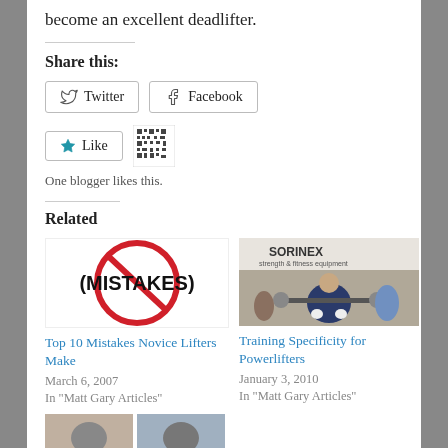become an excellent deadlifter.
Share this:
[Figure (other): Twitter share button]
[Figure (other): Facebook share button]
[Figure (other): Like button with star icon and QR-code avatar]
One blogger likes this.
Related
[Figure (illustration): Image with MISTAKES crossed out in a red circle]
Top 10 Mistakes Novice Lifters Make
March 6, 2007
In "Matt Gary Articles"
[Figure (photo): Photo of powerlifter at SORINEX event]
Training Specificity for Powerlifters
January 3, 2010
In "Matt Gary Articles"
[Figure (photo): Two small thumbnail images at the bottom]